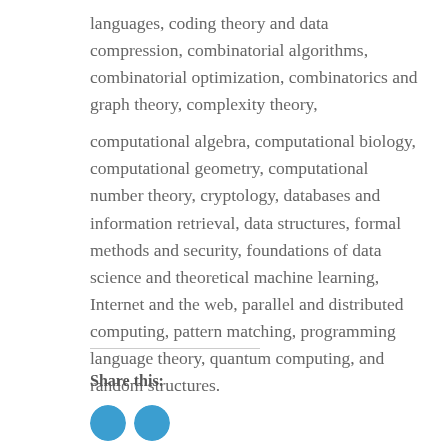languages, coding theory and data compression, combinatorial algorithms, combinatorial optimization, combinatorics and graph theory, complexity theory,
computational algebra, computational biology, computational geometry, computational number theory, cryptology, databases and information retrieval, data structures, formal methods and security, foundations of data science and theoretical machine learning, Internet and the web, parallel and distributed computing, pattern matching, programming language theory, quantum computing, and random structures.
Share this: